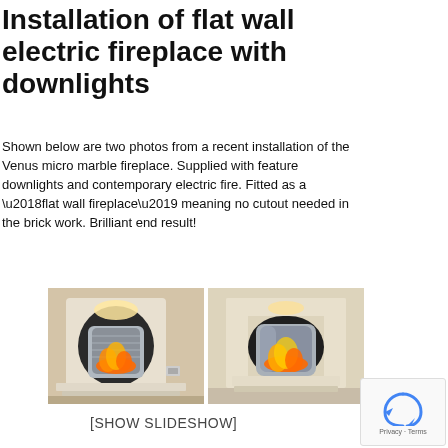Installation of flat wall electric fireplace with downlights
Shown below are two photos from a recent installation of the Venus micro marble fireplace. Supplied with feature downlights and contemporary electric fire. Fitted as a ‘flat wall fireplace’ meaning no cutout needed in the brick work. Brilliant end result!
[Figure (photo): Two side-by-side photos of a Venus micro marble fireplace installation showing an electric fire with downlights fitted flat against a white wall.]
[SHOW SLIDESHOW]